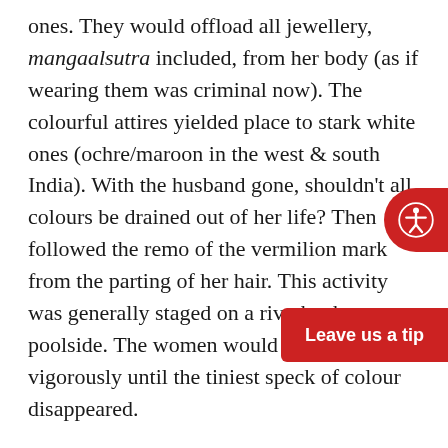ones. They would offload all jewellery, mangaalsutra included, from her body (as if wearing them was criminal now). The colourful attires yielded place to stark white ones (ochre/maroon in the west & south India). With the husband gone, shouldn't all colours be drained out of her life? Then followed the remo of the vermilion mark from the parting of her hair. This activity was generally staged on a riverbank or poolside. The women would rub and scrub vigorously until the tiniest speck of colour disappeared.
However, the greatest torture perpetrated upon the new widow was tonsuring or chopping o at random. So, what finally emerged was woman all shaven & shorn, dull and lacklustre. Hitherto her life would be dark and bleak. What an irony! In a cultural milieu where women were